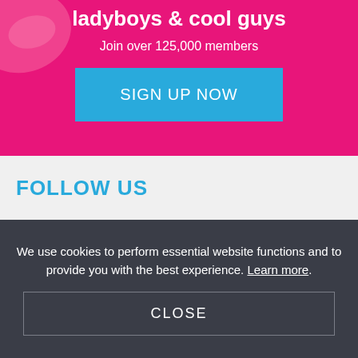ladyboys & cool guys
Join over 125,000 members
SIGN UP NOW
FOLLOW US
We use cookies to perform essential website functions and to provide you with the best experience. Learn more.
CLOSE